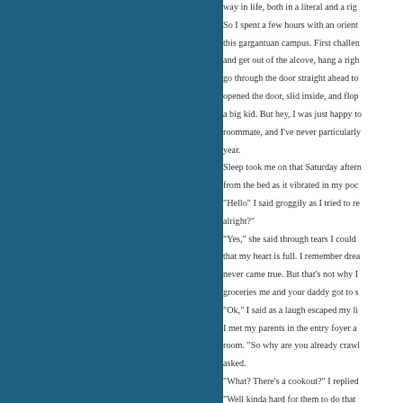way in life, both in a literal and a fig… So I spent a few hours with an orient… this gargantuan campus. First challen… and get out of the alcove, hang a righ… go through the door straight ahead to… opened the door, slid inside, and flop… a big kid. But hey, I was just happy to… roommate, and I've never particularly… year. Sleep took me on that Saturday aftern… from the bed as it vibrated in my poc… "Hello" I said groggily as I tried to re… alright?" "Yes," she said through tears I could… that my heart is full. I remember drea… never came true. But that's not why I… groceries me and your daddy got to s… "Ok," I said as a laugh escaped my li… I met my parents in the entry foyer a… room. "So why are you already crawl… asked. "What? There's a cookout?" I replied… "Well kinda hard for them to do that… "Ok ok, point taken," I replied. "I'll g… "Oh just the four food groups," my d… "So what are they…" I replied, but he…